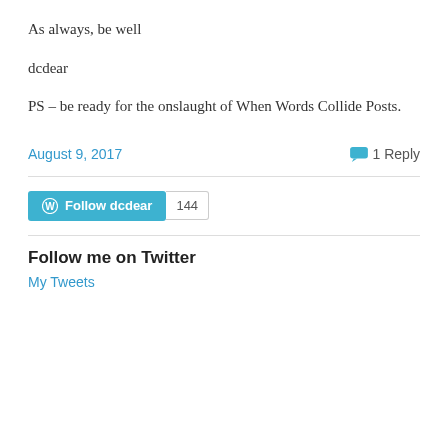As always, be well
dcdear
PS – be ready for the onslaught of When Words Collide Posts.
August 9, 2017   💬 1 Reply
[Figure (other): WordPress Follow button with label 'Follow dcdear' and count badge showing 144]
Follow me on Twitter
My Tweets